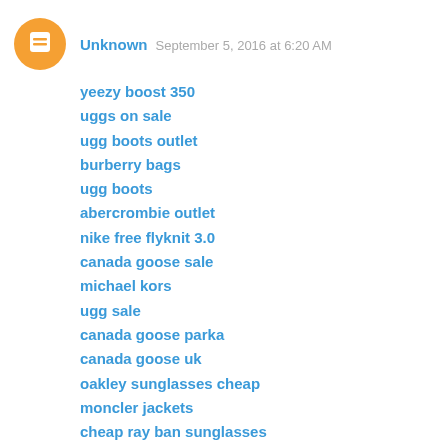Unknown  September 5, 2016 at 6:20 AM
yeezy boost 350
uggs on sale
ugg boots outlet
burberry bags
ugg boots
abercrombie outlet
nike free flyknit 3.0
canada goose sale
michael kors
ugg sale
canada goose parka
canada goose uk
oakley sunglasses cheap
moncler jackets
cheap ray ban sunglasses
michael kors handbags outlet
bottega veneta shoes
nike air force
cheap jordan shoes